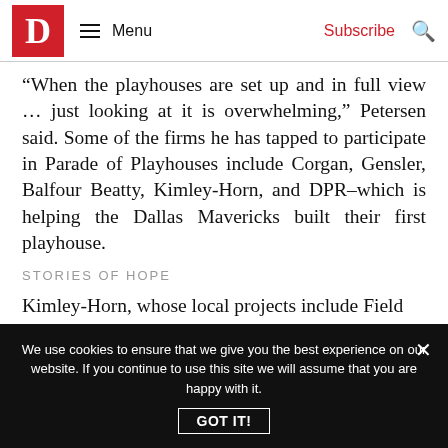D Magazine | Menu | Subscribe
“When the playhouses are set up and in full view … just looking at it is overwhelming,” Petersen said. Some of the firms he has tapped to participate in Parade of Playhouses include Corgan, Gensler, Balfour Beatty, Kimley-Horn, and DPR–which is helping the Dallas Mavericks built their first playhouse.
STORIES OF HOPE
Kimley-Horn, whose local projects include Field
We use cookies to ensure that we give you the best experience on our website. If you continue to use this site we will assume that you are happy with it.
GOT IT!